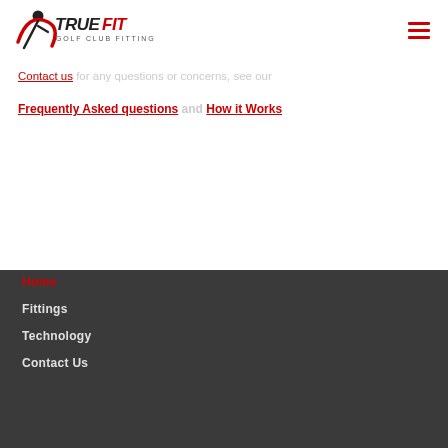[Figure (logo): True Fit Golf Club Fitting logo — stylized golfer figure with red swoosh, 'TRUEFIT' in black/red bold italic text, 'GOLF CLUB FITTING' in smaller text beneath]
Contact us for any questions or concerns, see our Frequently Asked questions and How It Works
Home
Fittings
Technology
Contact Us